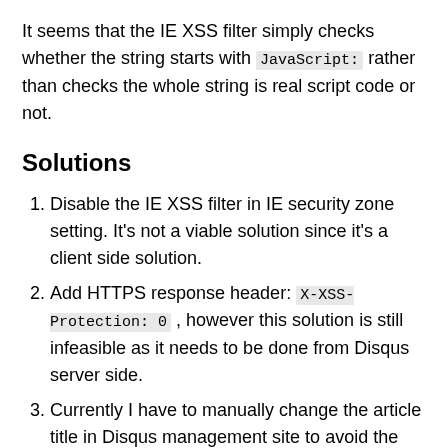It seems that the IE XSS filter simply checks whether the string starts with JavaScript: rather than checks the whole string is real script code or not.
Solutions
Disable the IE XSS filter in IE security zone setting. It's not a viable solution since it's a client side solution.
Add HTTPS response header: X-XSS-Protection: 0 , however this solution is still infeasible as it needs to be done from Disqus server side.
Currently I have to manually change the article title in Disqus management site to avoid the false alarm from IE XSS filter.
In the long term, I'm still hoping IE team can improve the XSS filter detect logic to fix this issue. I have already submitted the issue to IE feedback: IE11 needlessly